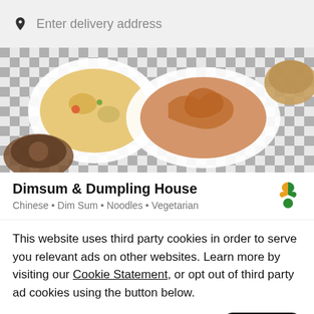Enter delivery address
[Figure (photo): Food photo showing Chinese dishes including fried rice, fried squid/chicken on a checkered tablecloth]
Dimsum & Dumpling House
Chinese • Dim Sum • Noodles • Vegetarian
This website uses third party cookies in order to serve you relevant ads on other websites. Learn more by visiting our Cookie Statement, or opt out of third party ad cookies using the button below.
Opt out
Got it